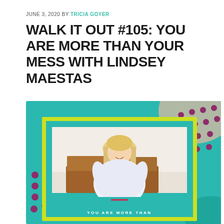JUNE 3, 2020 BY TRICIA GOYER
WALK IT OUT #105: YOU ARE MORE THAN YOUR MESS WITH LINDSEY MAESTAS
[Figure (photo): Podcast cover art showing a smiling blonde woman in a white floral dress seated on a brown leather chair, set against a teal background with colorful decorative elements including purple dots, a beige shape, and a yellow-green border frame. Text at bottom reads 'YOU ARE MORE THAN']